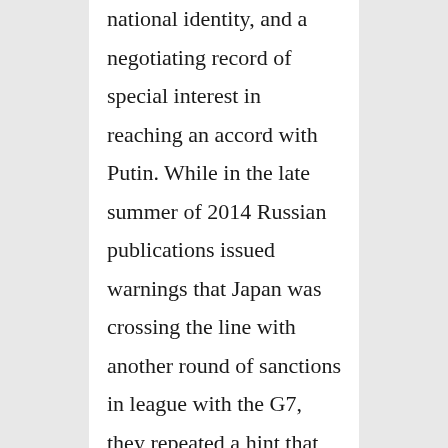national identity, and a negotiating record of special interest in reaching an accord with Putin. While in the late summer of 2014 Russian publications issued warnings that Japan was crossing the line with another round of sanctions in league with the G7, they repeated a hint that Abe still had time to reverse course. When Abe sent former prime minister Mori